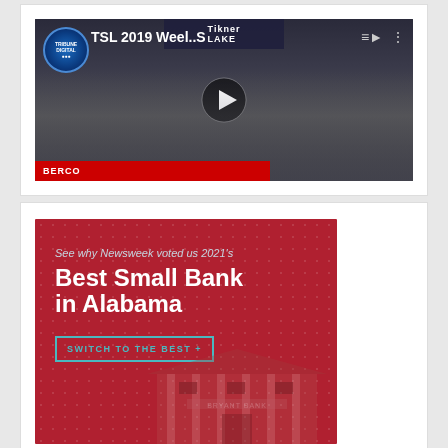[Figure (screenshot): YouTube-style video thumbnail for 'TSL 2019 Weel..S' on Tribune Digital channel, showing two men seated in a studio with brick background and a play button overlay.]
[Figure (photo): Bank advertisement on dark red background with dotted pattern. Text reads: 'See why Newsweek voted us 2021's Best Small Bank in Alabama' with a 'SWITCH TO THE BEST +' call-to-action button. Shows a bank building (Bryant Bank) in the background.]